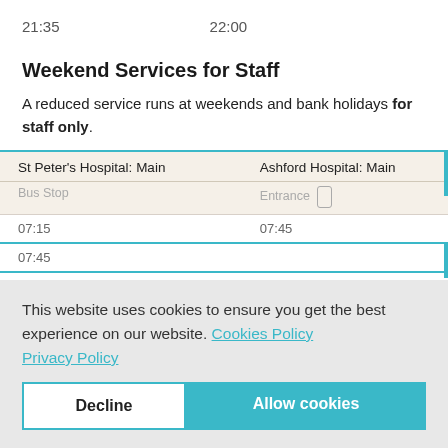21:35   22:00
Weekend Services for Staff
A reduced service runs at weekends and bank holidays for staff only.
| St Peter's Hospital: Main Bus Stop | Ashford Hospital: Main Entrance |
| --- | --- |
| 07:15 | 07:45 |
| 07:45 |  |
| 08:15 | 08:45 |
| 08:45 |  |
This website uses cookies to ensure you get the best experience on our website. Cookies Policy Privacy Policy
Decline  Allow cookies